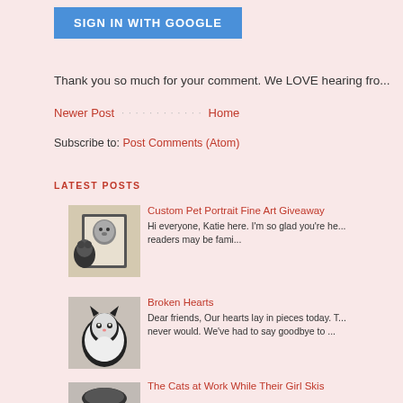[Figure (other): Blue 'SIGN IN WITH GOOGLE' button]
Thank you so much for your comment. We LOVE hearing fro...
Newer Post · · · · · · · · · · · · Home
Subscribe to: Post Comments (Atom)
LATEST POSTS
[Figure (photo): Black and white cat next to framed portrait photo]
Custom Pet Portrait Fine Art Giveaway
Hi everyone, Katie here. I'm so glad you're he... readers may be fami...
[Figure (photo): Black and white cat looking at camera]
Broken Hearts
Dear friends, Our hearts lay in pieces today. T... never would. We've had to say goodbye to ...
[Figure (photo): Cat partially visible at bottom]
The Cats at Work While Their Girl Skis